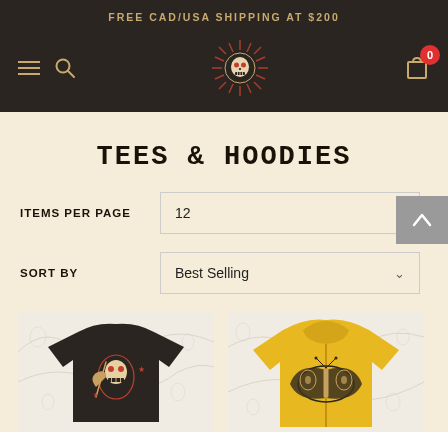FREE CAD/USA SHIPPING AT $200
[Figure (logo): Decorative skull with sunburst logo in red and gold tones, center of navigation bar]
TEES & HOODIES
ITEMS PER PAGE  12
SORT BY  Best Selling
[Figure (photo): Black t-shirt with skull/grim reaper graphic on cream illustrated background]
[Figure (photo): Yellow hoodie with butterfly/moth graphic on cream illustrated background]